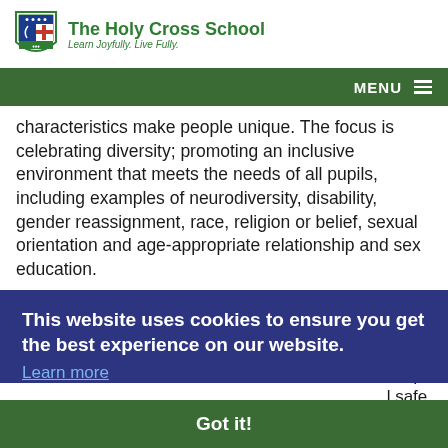The Holy Cross School
Learn Joyfully. Live Fully.
characteristics make people unique. The focus is celebrating diversity; promoting an inclusive environment that meets the needs of all pupils, including examples of neurodiversity, disability, gender reassignment, race, religion or belief, sexual orientation and age-appropriate relationship and sex education.
to ence. e of fe.
l safe, eer
This website uses cookies to ensure you get the best experience on our website.
Learn more
Got it!